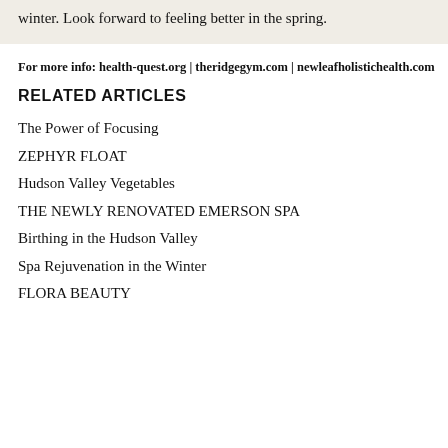• Don't blame yourself. Feel guilty about what you did in the winter. Look forward to feeling better in the spring.
For more info: health-quest.org | theridgegym.com | newleafholistichealth.com
RELATED ARTICLES
The Power of Focusing
ZEPHYR FLOAT
Hudson Valley Vegetables
THE NEWLY RENOVATED EMERSON SPA
Birthing in the Hudson Valley
Spa Rejuvenation in the Winter
FLORA BEAUTY